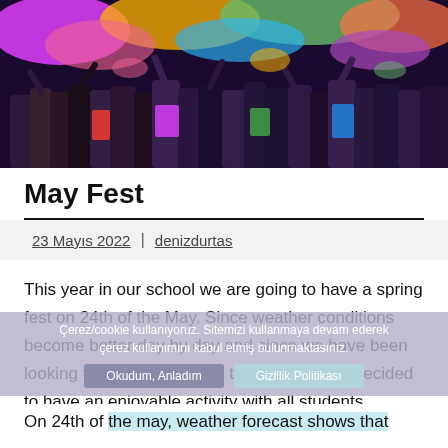[Figure (photo): Crowd of people celebrating Holi festival with colorful powder thrown in the air, vibrant colors including pink, yellow, green, and purple visible throughout the scene]
May Fest
23 Mayıs 2022 | denizdurtas
This year in our school we are going to have a spring fest on 24th of the May. Since weather conditions become better day by day and since we have been looking forward to summer to come we had decided to have an enjoyable activity with all students.
On 24th of the may, weather forecast shows that